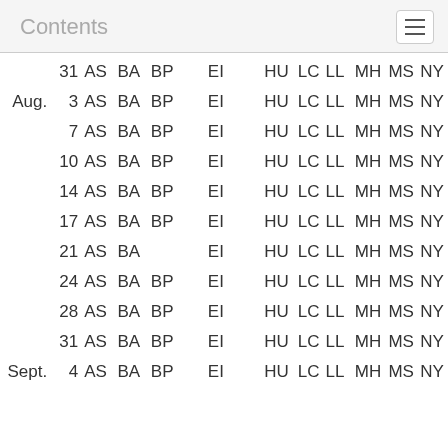Contents
| Month | Day | AS | BA | BP |  | EI |  | HU | LC | LL | MH | MS | NY |
| --- | --- | --- | --- | --- | --- | --- | --- | --- | --- | --- | --- | --- | --- |
|  | 31 | AS | BA | BP |  | EI |  | HU | LC | LL | MH | MS | NY |
| Aug. | 3 | AS | BA | BP |  | EI |  | HU | LC | LL | MH | MS | NY |
|  | 7 | AS | BA | BP |  | EI |  | HU | LC | LL | MH | MS | NY |
|  | 10 | AS | BA | BP |  | EI |  | HU | LC | LL | MH | MS | NY |
|  | 14 | AS | BA | BP |  | EI |  | HU | LC | LL | MH | MS | NY |
|  | 17 | AS | BA | BP |  | EI |  | HU | LC | LL | MH | MS | NY |
|  | 21 | AS | BA |  |  | EI |  | HU | LC | LL | MH | MS | NY |
|  | 24 | AS | BA | BP |  | EI |  | HU | LC | LL | MH | MS | NY |
|  | 28 | AS | BA | BP |  | EI |  | HU | LC | LL | MH | MS | NY |
|  | 31 | AS | BA | BP |  | EI |  | HU | LC | LL | MH | MS | NY |
| Sept. | 4 | AS | BA | BP |  | EI |  | HU | LC | LL | MH | MS | NY |